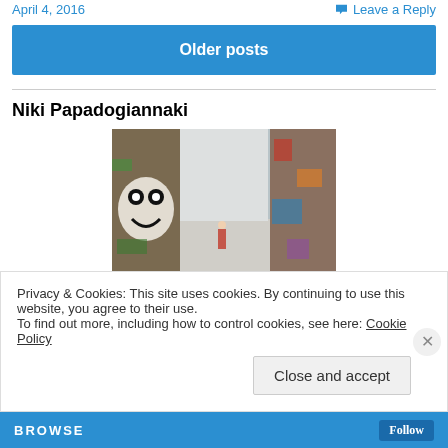April 4, 2016   Leave a Reply
Older posts
Niki Papadogiannaki
[Figure (photo): A hallway covered in colorful graffiti, with a large cartoonish face mural on the left wall, and more graffiti on the right. A person is visible at the far end.]
Privacy & Cookies: This site uses cookies. By continuing to use this website, you agree to their use.
To find out more, including how to control cookies, see here: Cookie Policy
Close and accept